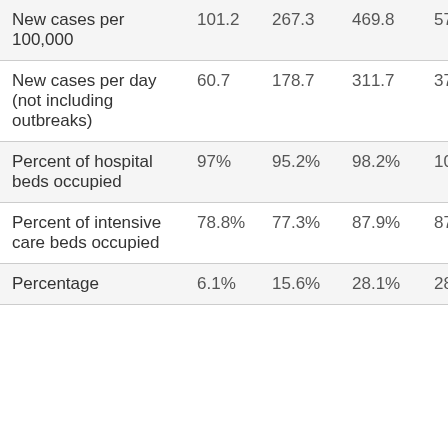| New cases per 100,000 | 101.2 | 267.3 | 469.8 | 57… |
| New cases per day (not including outbreaks) | 60.7 | 178.7 | 311.7 | 37… |
| Percent of hospital beds occupied | 97% | 95.2% | 98.2% | 10… |
| Percent of intensive care beds occupied | 78.8% | 77.3% | 87.9% | 87… |
| Percentage | 6.1% | 15.6% | 28.1% | 28… |